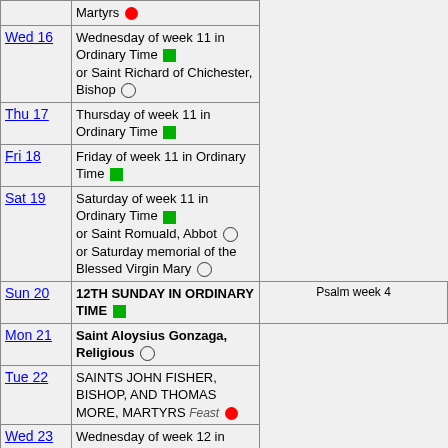| Day | Event | Note |
| --- | --- | --- |
|  | Martyrs [red circle] |  |
| Wed 16 | Wednesday of week 11 in Ordinary Time [green sq] or Saint Richard of Chichester, Bishop [circle] |  |
| Thu 17 | Thursday of week 11 in Ordinary Time [green sq] |  |
| Fri 18 | Friday of week 11 in Ordinary Time [green sq] |  |
| Sat 19 | Saturday of week 11 in Ordinary Time [green sq] or Saint Romuald, Abbot [circle] or Saturday memorial of the Blessed Virgin Mary [circle] |  |
| Sun 20 | 12TH SUNDAY IN ORDINARY TIME [green sq] | Psalm week 4 |
| Mon 21 | Saint Aloysius Gonzaga, Religious [circle] |  |
| Tue 22 | SAINTS JOHN FISHER, BISHOP, AND THOMAS MORE, MARTYRS Feast [red circle] |  |
| Wed 23 | Wednesday of week 12 in Ordinary Time [green sq] or Saint Etheldreda (or Audrey), Abbess [circle] |  |
| Thu 24 | THE NATIVITY OF SAINT JOHN THE BAPTIST Solemnity [circle] |  |
| Fri 25 | Friday of week 12 in Ordinary Time [green sq] |  |
| Sat 26 | Saturday of week 12 in Ordinary Time [green sq] or Saturday memorial of the Blessed Virgin Mary [circle] |  |